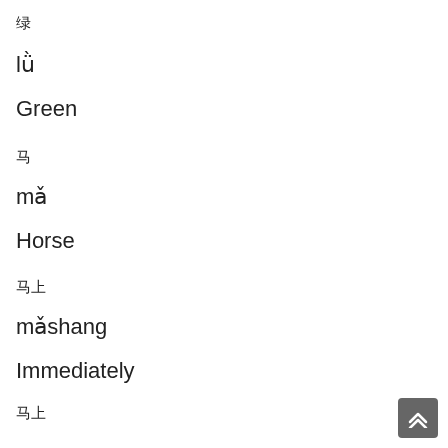绿
lǜ
Green
马
mǎ
Horse
马上
mǎshang
Immediately
马上